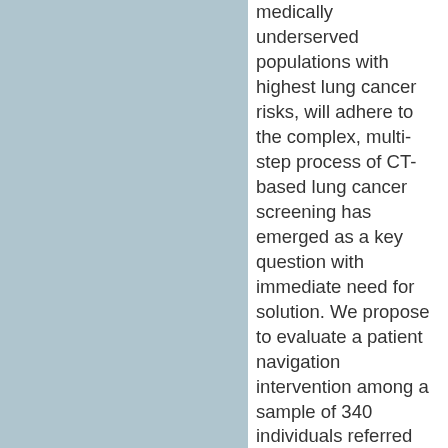[Figure (other): Blue-gray rectangular panel filling the left portion of the page]
medically underserved populations with highest lung cancer risks, will adhere to the complex, multi-step process of CT-based lung cancer screening has emerged as a key question with immediate need for solution. We propose to evaluate a patient navigation intervention among a sample of 340 individuals referred for CT-based lung